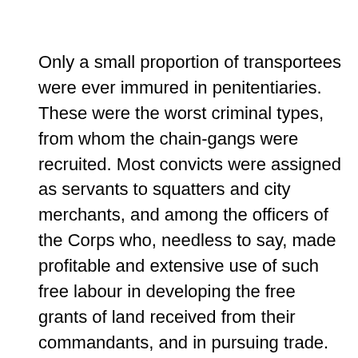Only a small proportion of transportees were ever immured in penitentiaries. These were the worst criminal types, from whom the chain-gangs were recruited. Most convicts were assigned as servants to squatters and city merchants, and among the officers of the Corps who, needless to say, made profitable and extensive use of such free labour in developing the free grants of land received from their commandants, and in pursuing trade. Under a benign reformatory scheme, it was intended that assigned servants should qualify for tickets-of-leave and ultimate emancipation, and in many cases they did so, some advancing to position and influence in the Colony. There were, nevertheless, occasions of tickets-of-leave being withheld from valued servants under trumped-up charges. Injustice contributed to bushranging activities which developed in New South Wales and Van Diemen's